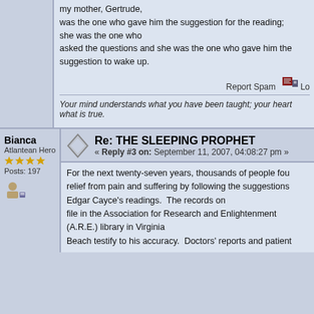my mother, Gertrude, was the one who gave him the suggestion for the reading; she was the one who asked the questions and she was the one who gave him the suggestion to wake up.
Report Spam  Lo
Your mind understands what you have been taught; your heart what is true.
Bianca
Atlantean Hero
Posts: 197
Re: THE SLEEPING PROPHET
« Reply #3 on: September 11, 2007, 04:08:27 pm »
For the next twenty-seven years, thousands of people found relief from pain and suffering by following the suggestions in Edgar Cayce's readings.  The records on file in the Association for Research and Enlightenment (A.R.E.) library in Virginia Beach testify to his accuracy.  Doctors' reports and patient